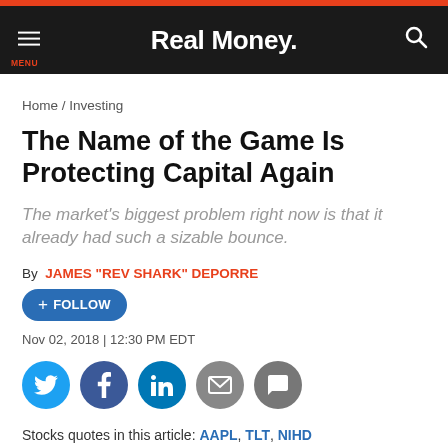Real Money.
Home / Investing
The Name of the Game Is Protecting Capital Again
The market's biggest problem right now is that it already had such a sizable bounce.
By JAMES "REV SHARK" DEPORRE
+ FOLLOW
Nov 02, 2018 | 12:30 PM EDT
Stocks quotes in this article: AAPL, TLT, NIHD